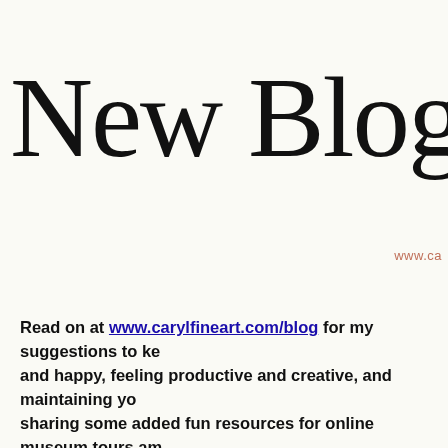[Figure (illustration): Large decorative script/calligraphy text reading 'New Blog P' (partially cropped) in black cursive lettering on a cream/off-white background, with a partially visible website watermark 'www.ca...' in salmon/rose color at bottom right.]
Read on at www.carylfineart.com/blog for my suggestions to ke... and happy, feeling productive and creative, and maintaining yo... sharing some added fun resources for online museum tours am... activities!)